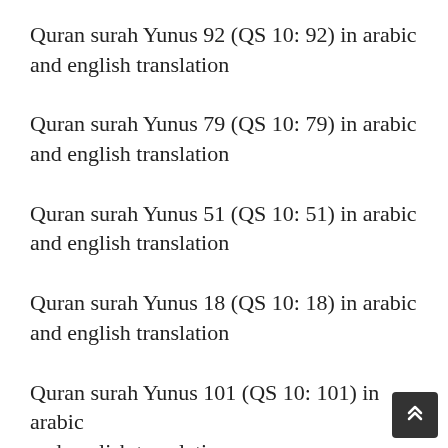Quran surah Yunus 92 (QS 10: 92) in arabic and english translation
Quran surah Yunus 79 (QS 10: 79) in arabic and english translation
Quran surah Yunus 51 (QS 10: 51) in arabic and english translation
Quran surah Yunus 18 (QS 10: 18) in arabic and english translation
Quran surah Yunus 101 (QS 10: 101) in arabic and english translation